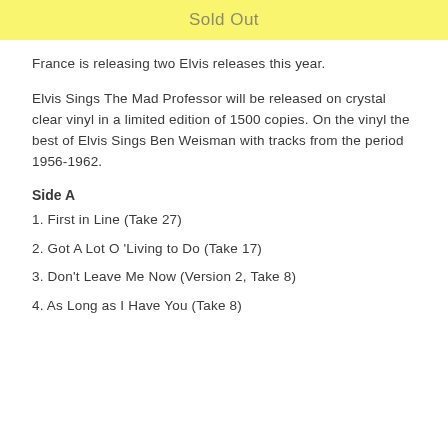Sold Out
France is releasing two Elvis releases this year.
Elvis Sings The Mad Professor will be released on crystal clear vinyl in a limited edition of 1500 copies. On the vinyl the best of Elvis Sings Ben Weisman with tracks from the period 1956-1962.
Side A
1. First in Line (Take 27)
2. Got A Lot O 'Living to Do (Take 17)
3. Don't Leave Me Now (Version 2, Take 8)
4. As Long as I Have You (Take 8)